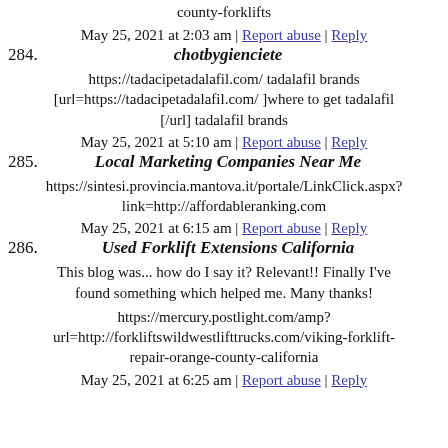county-forklifts
May 25, 2021 at 2:03 am | Report abuse | Reply
284. chotbygienciete
https://tadacipetadalafil.com/ tadalafil brands [url=https://tadacipetadalafil.com/ ]where to get tadalafil [/url] tadalafil brands
May 25, 2021 at 5:10 am | Report abuse | Reply
285. Local Marketing Companies Near Me
https://sintesi.provincia.mantova.it/portale/LinkClick.aspx?link=http://affordableranking.com
May 25, 2021 at 6:15 am | Report abuse | Reply
286. Used Forklift Extensions California
This blog was... how do I say it? Relevant!! Finally I've found something which helped me. Many thanks!
https://mercury.postlight.com/amp?url=http://forkliftswildwestlifttrucks.com/viking-forklift-repair-orange-county-california
May 25, 2021 at 6:25 am | Report abuse | Reply